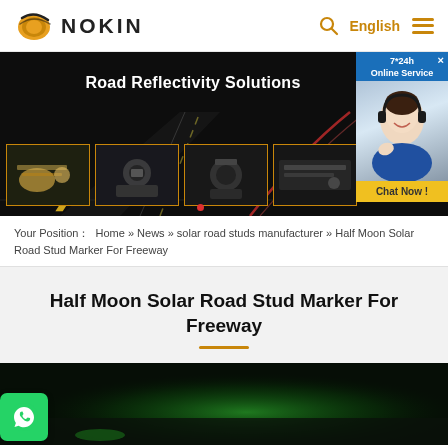NOKIN | English
[Figure (screenshot): Hero banner showing Road Reflectivity Solutions with dark road background and four product/worker thumbnail images. An online service chat popup is visible on the right.]
Your Position : Home » News » solar road studs manufacturer » Half Moon Solar Road Stud Marker For Freeway
Half Moon Solar Road Stud Marker For Freeway
[Figure (photo): Bottom preview of an article image showing a green-lit solar road stud on a dark road surface, with the NOKIN logo visible.]